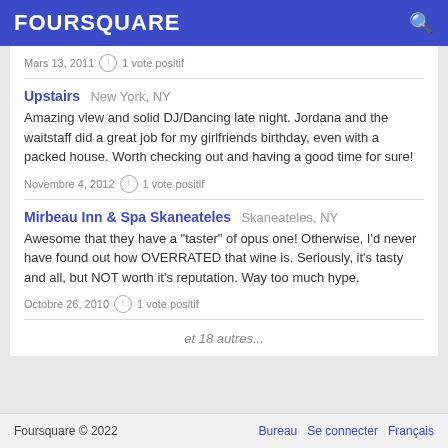FOURSQUARE
Mars 13, 2011  ↑ 1 vote positif
Upstairs  New York, NY
Amazing view and solid DJ/Dancing late night. Jordana and the waitstaff did a great job for my girlfriends birthday, even with a packed house. Worth checking out and having a good time for sure!
Novembre 4, 2012  ↑ 1 vote positif
Mirbeau Inn & Spa Skaneateles  Skaneateles, NY
Awesome that they have a "taster" of opus one! Otherwise, I'd never have found out how OVERRATED that wine is. Seriously, it's tasty and all, but NOT worth it's reputation. Way too much hype.
Octobre 26, 2010  ↑ 1 vote positif
et 18 autres...
Foursquare © 2022   Bureau   Se connecter   Français